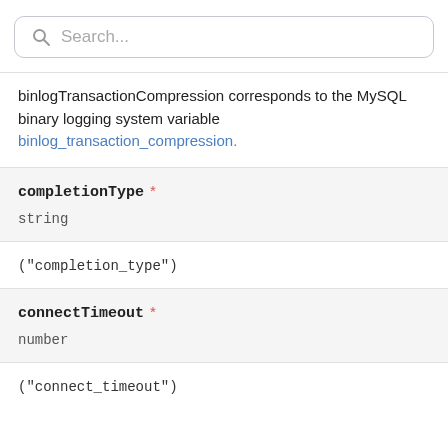[Figure (screenshot): Search bar with magnifying glass icon and placeholder text 'Search...']
binlogTransactionCompression corresponds to the MySQL binary logging system variable binlog_transaction_compression.
completionType *
string
("completion_type")
connectTimeout *
number
("connect_timeout")